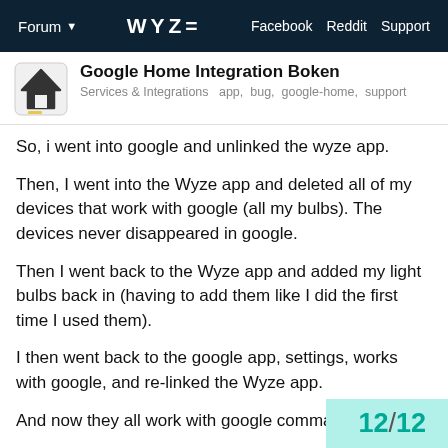Forum ▾   WYZE   Facebook  Reddit  Support
Google Home Integration Boken
Services & Integrations  app,  bug,  google-home,  support
So, i went into google and unlinked the wyze app.
Then, I went into the Wyze app and deleted all of my devices that work with google (all my bulbs). The devices never disappeared in google.
Then I went back to the Wyze app and added my light bulbs back in (having to add them like I did the first time I used them).
I then went back to the google app, settings, works with google, and re-linked the Wyze app.
And now they all work with google commands.
This would be really annoying for someone with lots of devices but I only have 4.
I hope this makes sense.